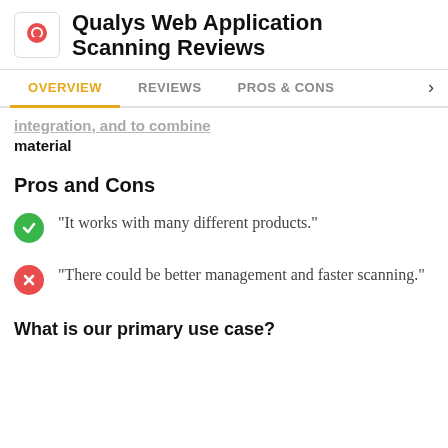Qualys Web Application Scanning Reviews
OVERVIEW | REVIEWS | PROS & CONS
integration, and to combine material
Pros and Cons
"It works with many different products."
"There could be better management and faster scanning."
What is our primary use case?